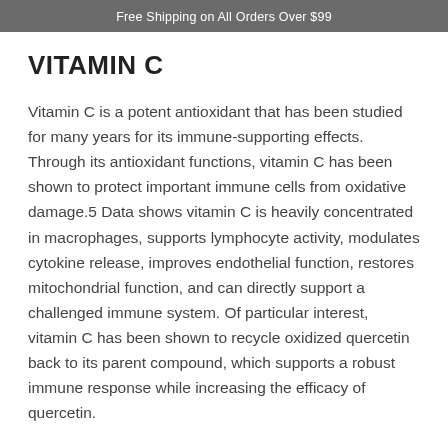Free Shipping on All Orders Over $99
VITAMIN C
Vitamin C is a potent antioxidant that has been studied for many years for its immune-supporting effects. Through its antioxidant functions, vitamin C has been shown to protect important immune cells from oxidative damage.5 Data shows vitamin C is heavily concentrated in macrophages, supports lymphocyte activity, modulates cytokine release, improves endothelial function, restores mitochondrial function, and can directly support a challenged immune system. Of particular interest, vitamin C has been shown to recycle oxidized quercetin back to its parent compound, which supports a robust immune response while increasing the efficacy of quercetin.